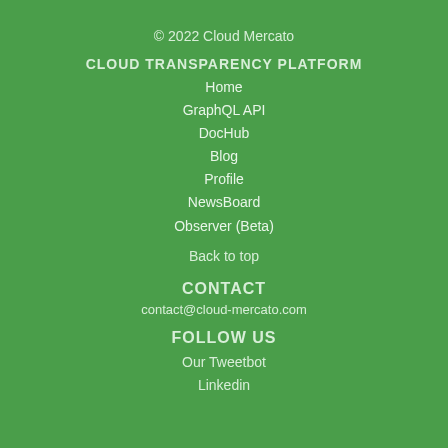© 2022 Cloud Mercato
CLOUD TRANSPARENCY PLATFORM
Home
GraphQL API
DocHub
Blog
Profile
NewsBoard
Observer (Beta)
Back to top
CONTACT
contact@cloud-mercato.com
FOLLOW US
Our Tweetbot
Linkedin